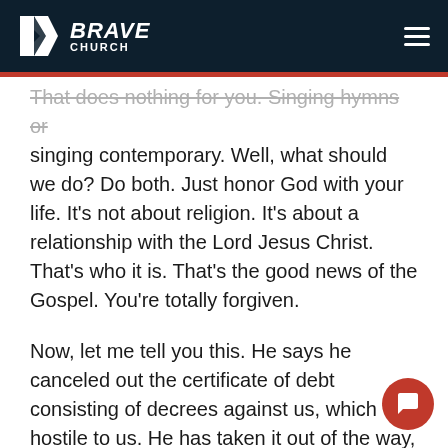Brave Church
That does nothing for you. Singing hymns or singing contemporary. Well, what should we do? Do both. Just honor God with your life. It's not about religion. It's about a relationship with the Lord Jesus Christ. That's who it is. That's the good news of the Gospel. You're totally forgiven.

Now, let me tell you this. He says he canceled out the certificate of debt consisting of decrees against us, which was hostile to us. He has taken it out of the way, having nailed it to the cross. I mean, imagine this. Imagine from the